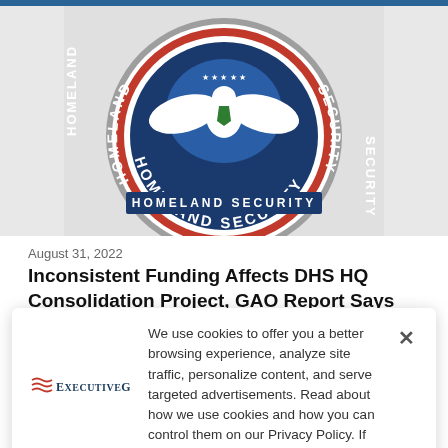[Figure (photo): DHS (Department of Homeland Security) official seal, partially cropped, showing the circular seal with eagle and text 'HOMELAND SECURITY' on a light gray background]
August 31, 2022
Inconsistent Funding Affects DHS HQ Consolidation Project, GAO Report Says
[Figure (photo): Photo strip showing a person in front of American and other flags, partially visible]
We use cookies to offer you a better browsing experience, analyze site traffic, personalize content, and serve targeted advertisements. Read about how we use cookies and how you can control them on our Privacy Policy. If you continue to use this site, you consent to our use of cookies.